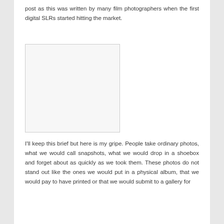post as this was written by many film photographers when the first digital SLRs started hitting the market.
[Figure (photo): A blank/empty white image placeholder with a light border, representing a photo that would appear in the blog post.]
I'll keep this brief but here is my gripe. People take ordinary photos, what we would call snapshots, what we would drop in a shoebox and forget about as quickly as we took them. These photos do not stand out like the ones we would put in a physical album, that we would pay to have printed or that we would submit to a gallery for